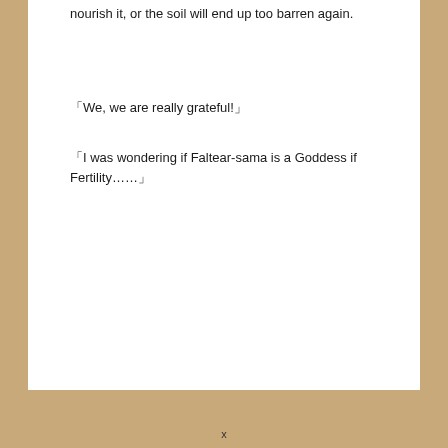nourish it, or the soil will end up too barren again.
「We, we are really grateful!」
「I was wondering if Faltear-sama is a Goddess if Fertility……」
x